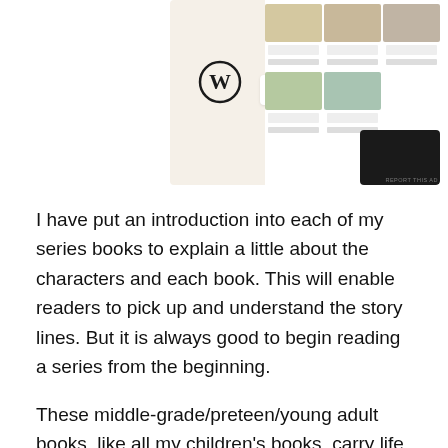[Figure (screenshot): Screenshot showing a WordPress website with food/recipe images displayed on a tablet/device mockup, with WordPress logo and email icon visible on a beige background]
I have put an introduction into each of my series books to explain a little about the characters and each book. This will enable readers to pick up and understand the story lines. But it is always good to begin reading a series from the beginning.
These middle-grade/preteen/young adult books, like all my children's books, carry life lessons in each story. These lessons help children see the importance of being kind to others, respect elders, parents and each other, respect differences in others, bullying is never tolerated or accepted, family and friends do matter, and love one another.